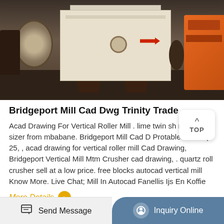[Figure (photo): Industrial milling machine (crusher/vertical mill) in a workshop setting. A large cream/white machine is centered, with an orange machine on the right and a metal reel on the left. The main machine has dark brown/maroon legs and a red arrow indicator on the body.]
Bridgeport Mill Cad Dwg Trinity Trade
Acad Drawing For Vertical Roller Mill . lime twin sh mineral sizer from mbabane. Bridgeport Mill Cad D Protable Plant Apr 25, , acad drawing for vertical roller mill Cad Drawing, Bridgeport Vertical Mill Mtm Crusher cad drawing, . quartz roll crusher sell at a low price. free blocks autocad vertical mill Know More. Live Chat; Mill In Autocad Fanellis Ijs En Koffie
More Details